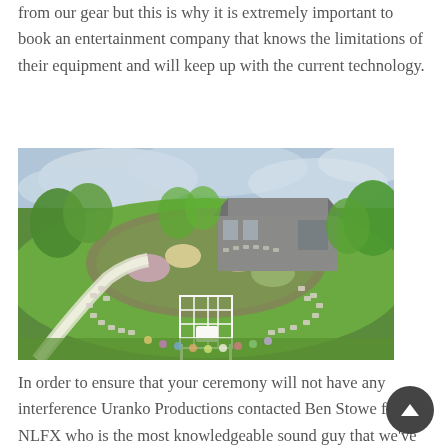from our gear but this is why it is extremely important to book an entertainment company that knows the limitations of their equipment and will keep up with the current technology.
[Figure (photo): Aerial view of an outdoor wedding ceremony in a garden with a white pergola, guests seated in a circle, lush green lawn and trees, and a barn-style building in the background under a partly cloudy sky.]
In order to ensure that your ceremony will not have any interference Uranko Productions contacted Ben Stowe from NLFX who is the most knowledgeable sound guy that we've